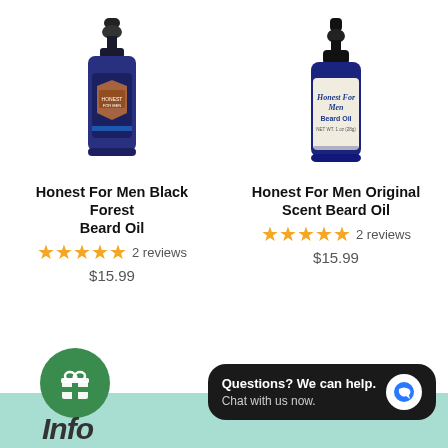[Figure (photo): Blue dropper bottle of Honest For Men Black Forest Beard Oil with decorative shield label]
Honest For Men Black Forest Beard Oil
★★★★★ 2 reviews
$15.99
[Figure (photo): Blue dropper bottle of Honest For Men Original Scent Beard Oil with light label]
Honest For Men Original Scent Beard Oil
★★★★★ 2 reviews
$15.99
[Figure (illustration): Green circle with white gift/present icon]
Questions? We can help. Chat with us now.
Info